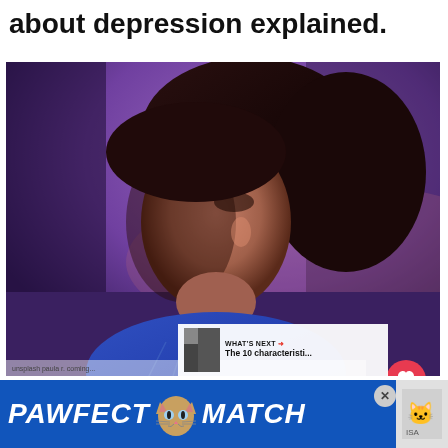about depression explained.
[Figure (photo): Side profile of a woman with dark hair looking away, bathed in purple/violet twilight light, moody atmospheric mood photo related to depression article]
[Figure (infographic): PAWFECT MATCH advertisement banner in blue with white italic bold text and cat graphic]